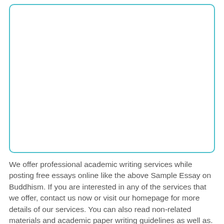[Figure (other): Empty white box with teal border and rounded corners — top portion of page]
We offer professional academic writing services while posting free essays online like the above Sample Essay on Buddhism. If you are interested in any of the services that we offer, contact us now or visit our homepage for more details of our services. You can also read non-related materials and academic paper writing guidelines as well as.
[Figure (photo): Photo of a hand holding a white smartphone showing a lock screen with time 2:04, against a wooden table background with an orange object.]